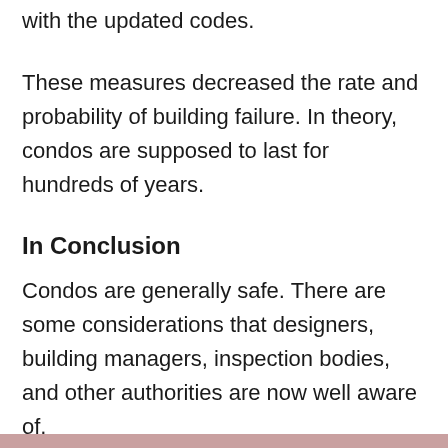with the updated codes.
These measures decreased the rate and probability of building failure. In theory, condos are supposed to last for hundreds of years.
In Conclusion
Condos are generally safe. There are some considerations that designers, building managers, inspection bodies, and other authorities are now well aware of.